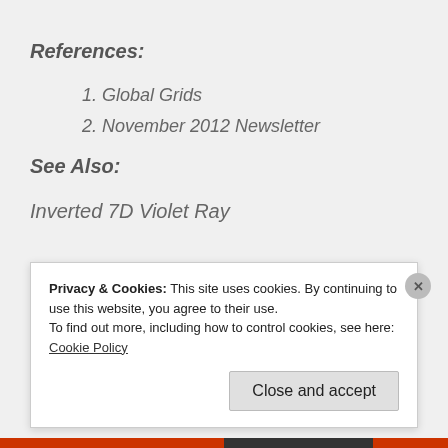References:
1. Global Grids
2. November 2012 Newsletter
See Also:
Inverted 7D Violet Ray
Privacy & Cookies: This site uses cookies. By continuing to use this website, you agree to their use.
To find out more, including how to control cookies, see here: Cookie Policy